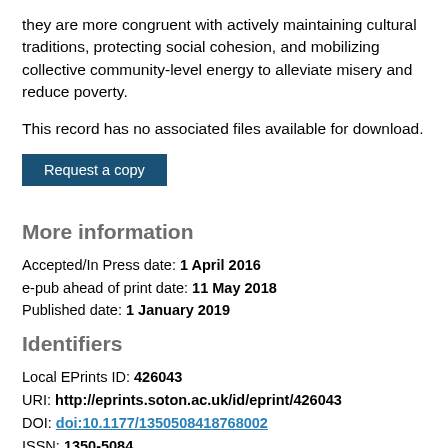they are more congruent with actively maintaining cultural traditions, protecting social cohesion, and mobilizing collective community-level energy to alleviate misery and reduce poverty.
This record has no associated files available for download.
Request a copy
More information
Accepted/In Press date: 1 April 2016
e-pub ahead of print date: 11 May 2018
Published date: 1 January 2019
Identifiers
Local EPrints ID: 426043
URI: http://eprints.soton.ac.uk/id/eprint/426043
DOI: doi:10.1177/1350508418768002
ISSN: 1350-5084